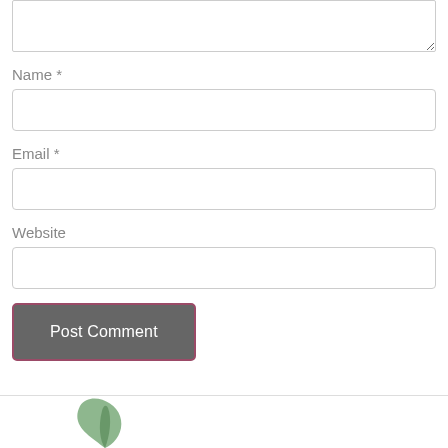[Figure (screenshot): Partially visible textarea input box at top of page]
Name *
[Figure (screenshot): Name text input field]
Email *
[Figure (screenshot): Email text input field]
Website
[Figure (screenshot): Website text input field]
[Figure (screenshot): Post Comment button, dark gray with rose/mauve border]
[Figure (illustration): Partial green leaf logo visible at bottom left]